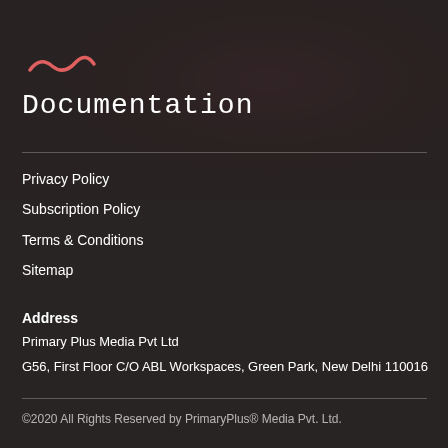[Figure (illustration): Tilde/wave symbol in coral/salmon color, decorative brand mark]
Documentation
Privacy Policy
Subscription Policy
Terms & Conditions
Sitemap
Address
Primary Plus Media Pvt Ltd
G56, First Floor C/O ABL Workspaces, Green Park, New Delhi 110016
©2020 All Rights Reserved by PrimaryPlus® Media Pvt. Ltd.